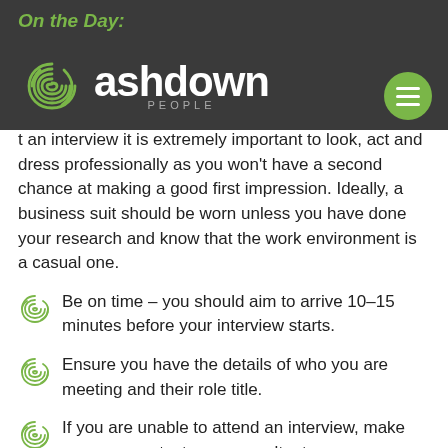On the Day:
[Figure (logo): Ashdown People logo with fingerprint icon and company name]
At an interview it is extremely important to look, act and dress professionally as you won't have a second chance at making a good first impression. Ideally, a business suit should be worn unless you have done your research and know that the work environment is a casual one.
Be on time – you should aim to arrive 10-15 minutes before your interview starts.
Ensure you have the details of who you are meeting and their role title.
If you are unable to attend an interview, make sure you contact your consultant as soon as possible